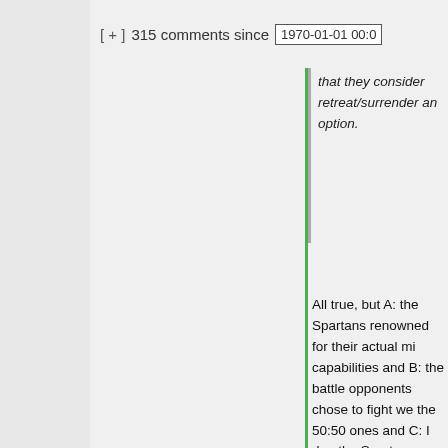[ + ]  315 comments since  1970-01-01 00:0
that they consider retreat/surrender an option.
All true, but A: the Spartans renowned for their actual mi capabilities and B: the battle opponents chose to fight we the 50:50 ones and C: I don the Spartans massacring en who surrendered or fled bef battle(*). So I think all of tho conditions apply.
I did toy with the idea of goin through the cited battles and the Spartan win rate as a fu numerical superiority/inferi